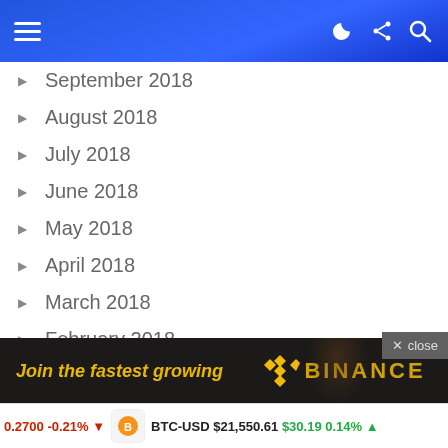Navigation header bar with hamburger menu and icons
September 2018
August 2018
July 2018
June 2018
May 2018
April 2018
March 2018
February 2018
January 2018
December 2017
November 2017
October 2017
September 2017
August 2017
July 2017
[Figure (screenshot): Advertisement banner: 'Join the fastest growing' with Binance logo]
0.2700 -0.21% ▼   BTC-USD $21,550.61  $30.19 0.14% ▲